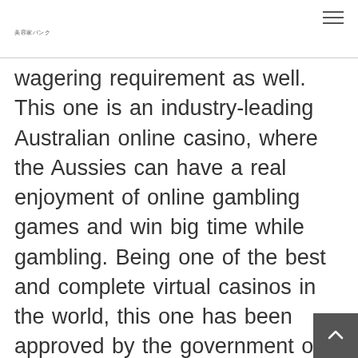美容家バンク
wagering requirement as well. This one is an industry-leading Australian online casino, where the Aussies can have a real enjoyment of online gambling games and win big time while gambling. Being one of the best and complete virtual casinos in the world, this one has been approved by the government of Curacao. That only means the cash the casino players invest here will be in the best hands as the site has to follow entire Curacao-issued rules and regulations.